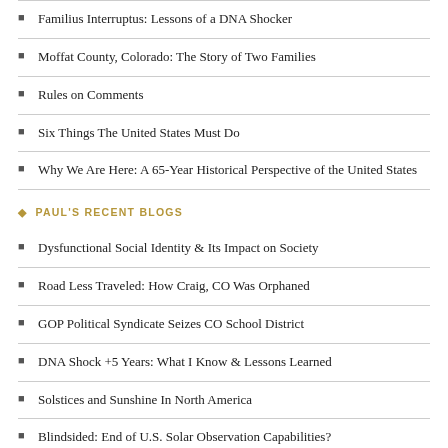Familius Interruptus: Lessons of a DNA Shocker
Moffat County, Colorado: The Story of Two Families
Rules on Comments
Six Things The United States Must Do
Why We Are Here: A 65-Year Historical Perspective of the United States
PAUL'S RECENT BLOGS
Dysfunctional Social Identity & Its Impact on Society
Road Less Traveled: How Craig, CO Was Orphaned
GOP Political Syndicate Seizes CO School District
DNA Shock +5 Years: What I Know & Lessons Learned
Solstices and Sunshine In North America
Blindsided: End of U.S. Solar Observation Capabilities?
Inspiration4: A Waste of Space Exploration